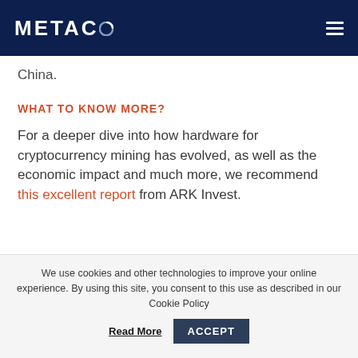METACO
China.
WHAT TO KNOW MORE?
For a deeper dive into how hardware for cryptocurrency mining has evolved, as well as the economic impact and much more, we recommend this excellent report from ARK Invest.
We use cookies and other technologies to improve your online experience. By using this site, you consent to this use as described in our Cookie Policy  Read More  ACCEPT